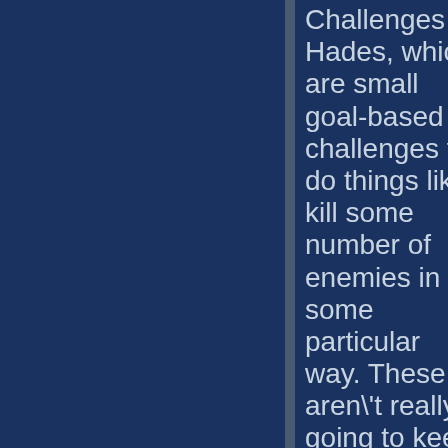Challenges of Hades, which are small goal-based challenges to do things like kill some number of enemies in some particular way. These aren't really going to keep any but the most hardcore fans coming back for